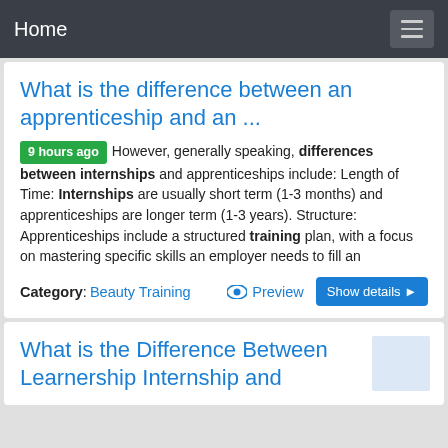Home
What is the difference between an apprenticeship and an ...
9 hours ago However, generally speaking, differences between internships and apprenticeships include: Length of Time: Internships are usually short term (1-3 months) and apprenticeships are longer term (1-3 years). Structure: Apprenticeships include a structured training plan, with a focus on mastering specific skills an employer needs to fill an
Category: Beauty Training | Preview | Show details
What is the Difference Between Learnership Internship and